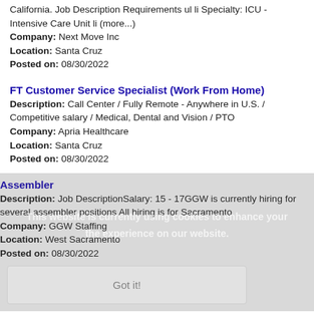California. Job Description Requirements ul li Specialty: ICU - Intensive Care Unit li (more...) Company: Next Move Inc Location: Santa Cruz Posted on: 08/30/2022
FT Customer Service Specialist (Work From Home)
Description: Call Center / Fully Remote - Anywhere in U.S. / Competitive salary / Medical, Dental and Vision / PTO Company: Apria Healthcare Location: Santa Cruz Posted on: 08/30/2022
Assembler
Description: Job DescriptionSalary: 15 - 17GGW is currently hiring for several assembler positions All hiring is for Sacramento Company: GGW Staffing Location: West Sacramento Posted on: 08/30/2022
Got it!
Salary in San Jose, California Area | More details for San Jose, California Jobs |Salary